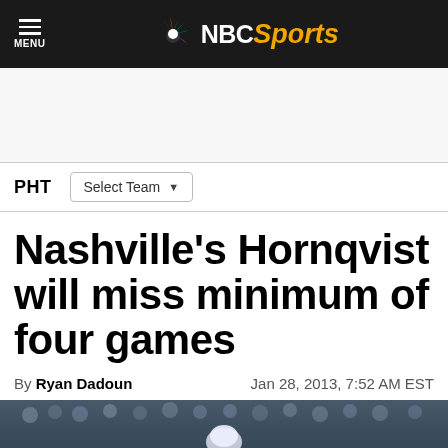NBC Sports
PHT  Select Team
Nashville's Hornqvist will miss minimum of four games
By Ryan Dadoun  Jan 28, 2013, 7:52 AM EST
[Figure (photo): Hockey players, crowd in background, bottom of page]